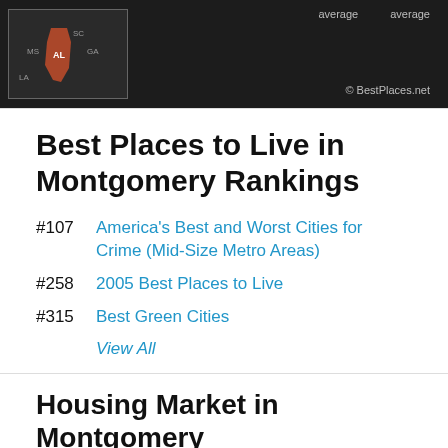[Figure (map): Dark background image showing a map of southeastern US states with Alabama highlighted in dark red/orange. Text labels 'average' appear twice at top right. Copyright '© BestPlaces.net' at bottom right.]
Best Places to Live in Montgomery Rankings
#107 America's Best and Worst Cities for Crime (Mid-Size Metro Areas)
#258 2005 Best Places to Live
#315 Best Green Cities
View All
Housing Market in Montgomery
It's a good time to buy in Montgomery. Home Appreciation is up 11.6% in the last 12 months. The median home price in Montgomery is $148,900. Real Estate: See Homes